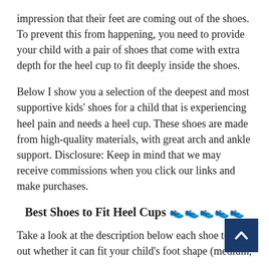impression that their feet are coming out of the shoes. To prevent this from happening, you need to provide your child with a pair of shoes that come with extra depth for the heel cup to fit deeply inside the shoes.
Below I show you a selection of the deepest and most supportive kids' shoes for a child that is experiencing heel pain and needs a heel cup. These shoes are made from high-quality materials, with great arch and ankle support. Disclosure: Keep in mind that we may receive commissions when you click our links and make purchases.
Best Shoes to Fit Heel Cups 👟👟👟👟👟
Take a look at the description below each shoe to find out whether it can fit your child's foot shape (medium,